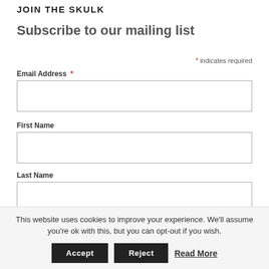JOIN THE SKULK
Subscribe to our mailing list
* indicates required
Email Address *
First Name
Last Name
This website uses cookies to improve your experience. We'll assume you're ok with this, but you can opt-out if you wish.
Accept | Reject | Read More